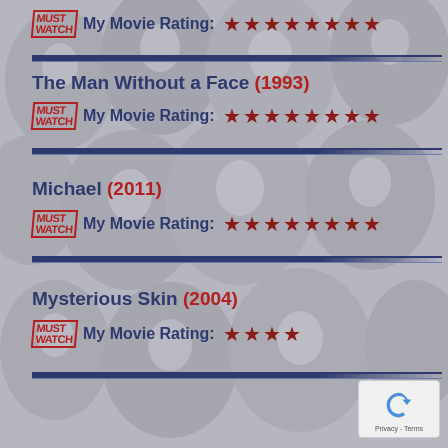My Movie Rating: ★★★★★★★★
The Man Without a Face (1993)
My Movie Rating: ★★★★★★★★
Michael (2011)
My Movie Rating: ★★★★★★★★
Mysterious Skin (2004)
My Movie Rating: ★★★★